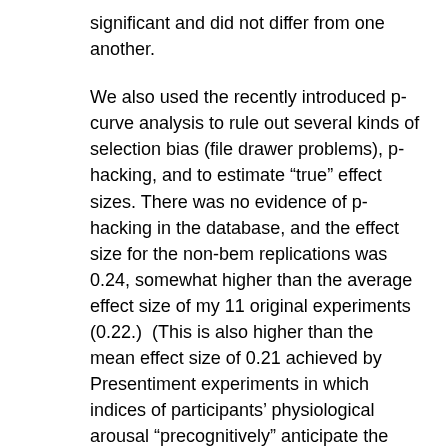significant and did not differ from one another.
We also used the recently introduced p-curve analysis to rule out several kinds of selection bias (file drawer problems), p-hacking, and to estimate “true” effect sizes. There was no evidence of p-hacking in the database, and the effect size for the non-bem replications was 0.24, somewhat higher than the average effect size of my 11 original experiments (0.22.)  (This is also higher than the mean effect size of 0.21 achieved by Presentiment experiments in which indices of participants’ physiological arousal “precognitively” anticipate the random presentation of an arousing stimulus.)